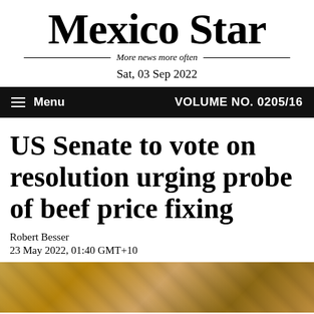Mexico Star
More news more often
Sat, 03 Sep 2022
Menu  VOLUME NO. 0205/16
US Senate to vote on resolution urging probe of beef price fixing
Robert Besser
23 May 2022, 01:40 GMT+10
[Figure (photo): Photo of beef/meat related imagery with warm golden tones]